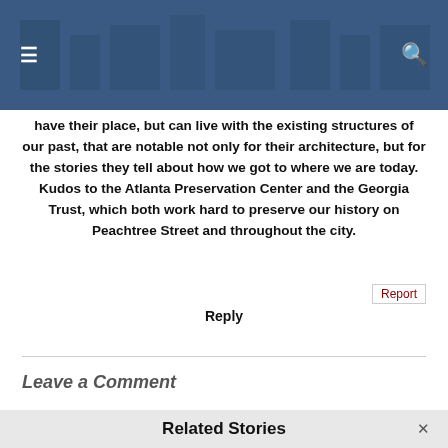SaportaReport
have their place, but can live with the existing structures of our past, that are notable not only for their architecture, but for the stories they tell about how we got to where we are today. Kudos to the Atlanta Preservation Center and the Georgia Trust, which both work hard to preserve our history on Peachtree Street and throughout the city.
Reply
Leave a Comment
Related Stories
Let's save Morris Brown before gentrification does it in